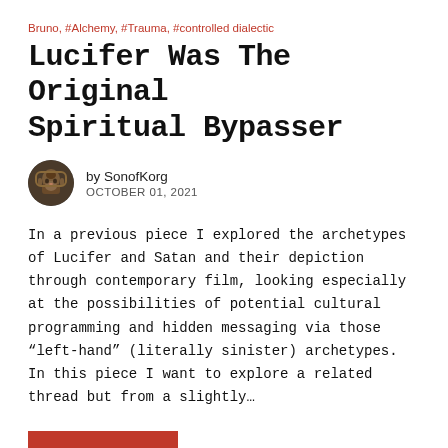Bruno, #Alchemy, #Trauma, #controlled dialectic
Lucifer Was The Original Spiritual Bypasser
by SonofKorg
OCTOBER 01, 2021
In a previous piece I explored the archetypes of Lucifer and Satan and their depiction through contemporary film, looking especially at the possibilities of potential cultural programming and hidden messaging via those “left-hand” (literally sinister) archetypes. In this piece I want to explore a related thread but from a slightly…
READ MORE